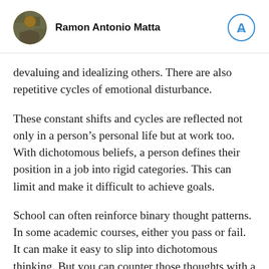Ramon Antonio Matta
devaluing and idealizing others. There are also repetitive cycles of emotional disturbance.
These constant shifts and cycles are reflected not only in a person’s personal life but at work too. With dichotomous beliefs, a person defines their position in a job into rigid categories. This can limit and make it difficult to achieve goals.
School can often reinforce binary thought patterns. In some academic courses, either you pass or fail. It can make it easy to slip into dichotomous thinking. But you can counter those thoughts with a growth mentality. So instead of succeeding or failing, a